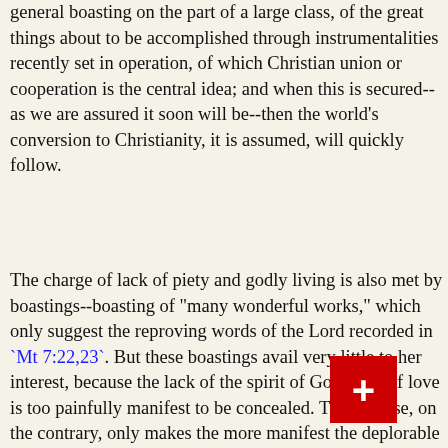general boasting on the part of a large class, of the great things about to be accomplished through instrumentalities recently set in operation, of which Christian union or cooperation is the central idea; and when this is secured--as we are assured it soon will be--then the world's conversion to Christianity, it is assumed, will quickly follow.
The charge of lack of piety and godly living is also met by boastings--boasting of "many wonderful works," which only suggest the reproving words of the Lord recorded in `Mt 7:22,23`. But these boastings avail very little to her interest, because the lack of the spirit of God's law of love is too painfully manifest to be concealed. The defense, on the contrary, only makes the more manifest the deplorable condition of the fallen church. If this great ecclesiasticism were really the Church of God, how manifest would be the failure of the divine plan to choose out a people for his name!
But while these various excuses, apologies, promises and boasts are made by the church, her leaders see very clearly that they will not long serve to preserve her in her present divided, distracted and confused condition. That disintegration and overthrow are sure to follow unless some mighty effort shall unite her sects and thus give her not only a better standing before the world, but also increase